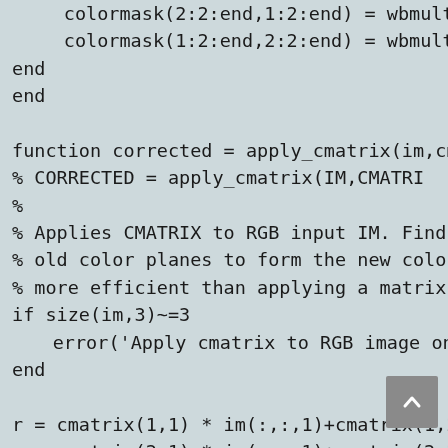colormask(2:2:end,1:2:end) = wbmult
        colormask(1:2:end,2:2:end) = wbmult
    end
end

function corrected = apply_cmatrix(im,cma
% CORRECTED = apply_cmatrix(IM,CMATRI
%
% Applies CMATRIX to RGB input IM. Finds t
% old color planes to form the new color pl
% more efficient than applying a matrix tra
if size(im,3)~=3
    error('Apply cmatrix to RGB image only.')
end

r = cmatrix(1,1) * im(:,:,1)+cmatrix(1,2) * i
g = cmatrix(2,1) * im(:,:,1)+cmatrix(2,2) *
b = cmatrix(3,1) * im(:,:,1)+cmatrix(3,2) *

corrected = cat(3,r,g,b);
end